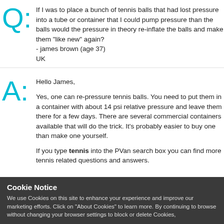Q: If I was to place a bunch of tennis balls that had lost pressure into a tube or container that I could pump pressure than the balls would the pressure in theory re-inflate the balls and make them "like new" again?
- james brown (age 37)
UK
A: Hello James,

Yes, one can re-pressure tennis balls. You need to put them in a container with about 14 psi relative pressure and leave them there for a few days. There are several commercial containers available that will do the trick. It's probably easier to buy one than make one yourself.

If you type tennis into the PVan search box you can find more tennis related questions and answers.
Cookie Notice
We use Cookies on this site to enhance your experience and improve our marketing efforts. Click on "About Cookies" to learn more. By continuing to browse without changing your browser settings to block or delete Cookies,